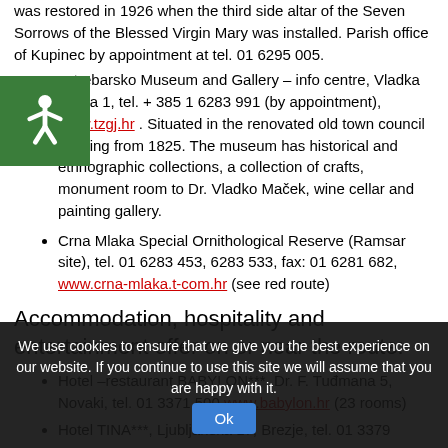was restored in 1926 when the third side altar of the Seven Sorrows of the Blessed Virgin Mary was installed. Parish office of Kupinec by appointment at tel. 01 6295 005.
Jastrebarsko Museum and Gallery – info centre, Vladka Mačeka 1, tel. + 385 1 6283 991 (by appointment), www.tzgj.hr . Situated in the renovated old town council building from 1825. The museum has historical and ethnographic collections, a collection of crafts, monument room to Dr. Vladko Maček, wine cellar and painting gallery.
Crna Mlaka Special Ornithological Reserve (Ramsar site), tel. 01 6283 453, 6283 533, fax: 01 6281 682, www.crna-mlaka.t-com.hr (see red route)
Accommodation, hospitality and entertainment offer on or near the route:
Hotel –restaurant BABYLON***, Dr. F. Tuđmana 5, Novaki, tel. 01 3371 500, www.babylon.hr (23 rooms)
Hotel TINA***, Ljubljanska 17, Brezje, tel. 01 3379
We use cookies to ensure that we give you the best experience on our website. If you continue to use this site we will assume that you are happy with it.